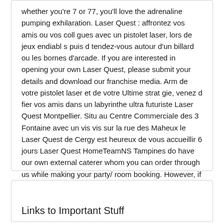whether you're 7 or 77, you'll love the adrenaline pumping exhilaration. Laser Quest : affrontez vos amis ou vos coll gues avec un pistolet laser, lors de jeux endiabl s puis d tendez-vous autour d'un billard ou les bornes d'arcade. If you are interested in opening your own Laser Quest, please submit your details and download our franchise media. Arm de votre pistolet laser et de votre Ultime strat gie, venez d fier vos amis dans un labyrinthe ultra futuriste Laser Quest Montpellier. Situ au Centre Commerciale des 3 Fontaine avec un vis vis sur la rue des Maheux le Laser Quest de Cergy est heureux de vous accueillir 6 jours Laser Quest HomeTeamNS Tampines do have our own external caterer whom you can order through us while making your party/ room booking. However, if you wish to bring.
Links to Important Stuff